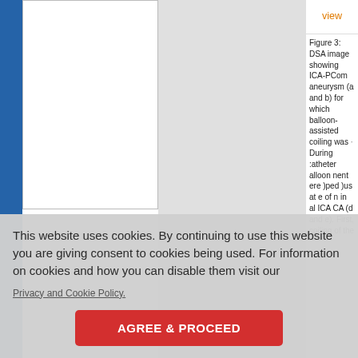[Figure (photo): DSA image panels (a and b) showing ICA-PCom aneurysm - left panel white/blank visible portion, center panel gray background]
Figure 3: DSA image showing ICA-PCom aneurysm (a and b) for which balloon-assisted coiling was [performed]. During [the] catheter [and] balloon [place]ment [th]ere [devel]oped [thromboembol]us at [the] [tim]e of [occlusio]n in [the] [contralater]al ICA [and MCA] (d and e). First, [coiling of the...]
This website uses cookies. By continuing to use this website you are giving consent to cookies being used. For information on cookies and how you can disable them visit our
Privacy and Cookie Policy.
AGREE & PROCEED